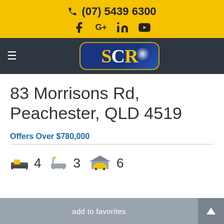(07) 5439 6300
[Figure (logo): SCR real estate agency logo — blue rounded rectangle with gold border, gold and white SCR letters, shine effect]
83 Morrisons Rd, Peachester, QLD 4519
Offers Over $780,000
4 bedrooms, 3 bathrooms, 6 garage spaces
add to favorites